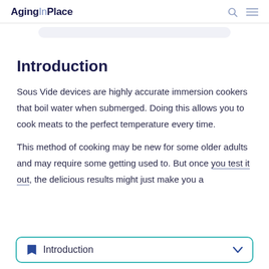AgingInPlace
Introduction
Sous Vide devices are highly accurate immersion cookers that boil water when submerged. Doing this allows you to cook meats to the perfect temperature every time.
This method of cooking may be new for some older adults and may require some getting used to. But once you test it out, the delicious results might just make you a
Introduction